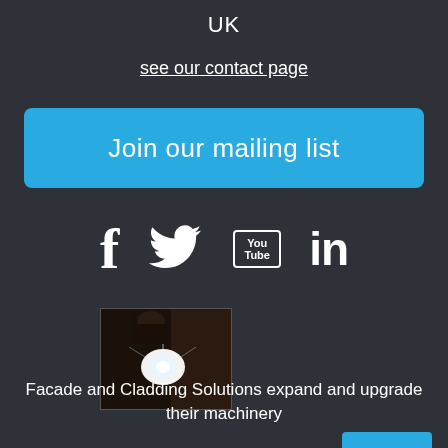UK
see our contact page
Join our mailing list
[Figure (infographic): Social media icons: Facebook (f), Twitter (bird), YouTube (You Tube box), LinkedIn (in)]
[Figure (photo): Photo of welding or metalwork with bright light flash]
Facade and Cladding Solutions expand and upgrade their machinery